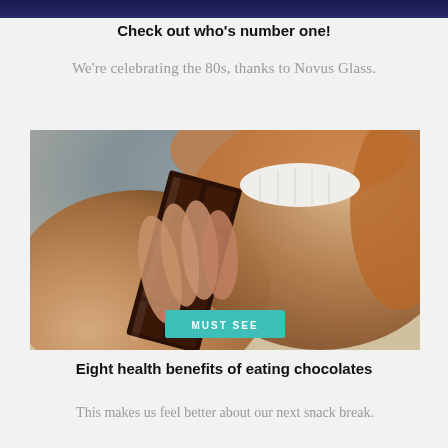Check out who's number one!
We're celebrating the 80s, thanks to Novus Glass.
[Figure (photo): Close-up photo of a person biting into a dark chocolate bar, smiling. A teal button labeled 'MUST SEE' is overlaid at the bottom center of the image.]
Eight health benefits of eating chocolates
This makes us feel better about our next snack break.